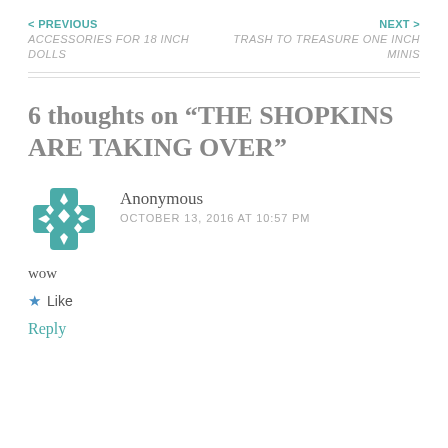< PREVIOUS ACCESSORIES FOR 18 INCH DOLLS | NEXT > TRASH TO TREASURE ONE INCH MINIS
6 thoughts on “THE SHOPKINS ARE TAKING OVER”
Anonymous
OCTOBER 13, 2016 AT 10:57 PM
wow
★ Like
Reply